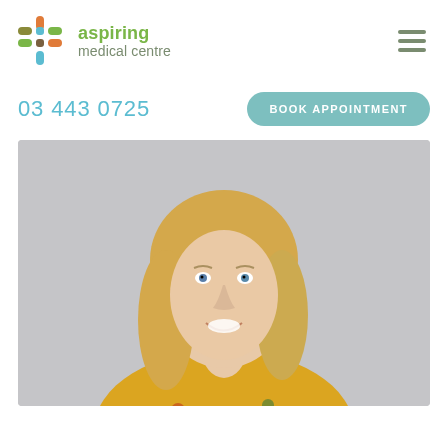[Figure (logo): Aspiring Medical Centre logo with colorful cross icon and green text]
03 443 0725
BOOK APPOINTMENT
[Figure (photo): Portrait photo of a smiling blonde woman wearing a yellow floral top, against a grey background]